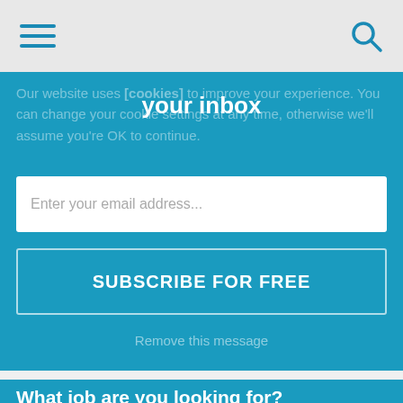[Figure (screenshot): Mobile app navigation bar with hamburger menu icon on left and search icon on right, on light gray background]
Our website uses [cookies] to improve your experience. You can change your cookie settings at any time, otherwise we'll assume you're OK to continue.
your inbox
Enter your email address...
Learn more
SUBSCRIBE FOR FREE
Remove this message
What job are you looking for?
Job title, keywords or company
Find jobs